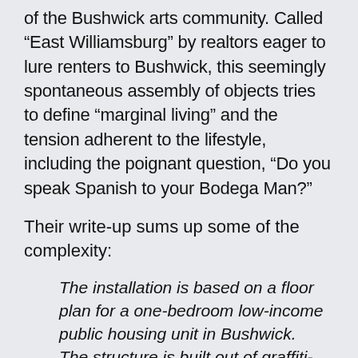of the Bushwick arts community. Called “East Williamsburg” by realtors eager to lure renters to Bushwick, this seemingly spontaneous assembly of objects tries to define “marginal living” and the tension adherent to the lifestyle, including the poignant question, “Do you speak Spanish to your Bodega Man?”
Their write-up sums up some of the complexity:
The installation is based on a floor plan for a one-bedroom low-income public housing unit in Bushwick. The structure is built out of graffiti-inspired dialog-based oil paintings documenting conversations with real-estate developers, new residents of Bushwick